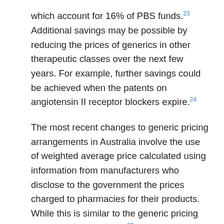which account for 16% of PBS funds.23 Additional savings may be possible by reducing the prices of generics in other therapeutic classes over the next few years. For example, further savings could be achieved when the patents on angiotensin II receptor blockers expire.24
The most recent changes to generic pricing arrangements in Australia involve the use of weighted average price calculated using information from manufacturers who disclose to the government the prices charged to pharmacies for their products. While this is similar to the generic pricing mechanism in England,25 it is unclear whether this will bring Australian generic prices into line with those in other countries because price reductions depend on significant competition in the generic market.26 Given the large and growing price disparities between Australia and many